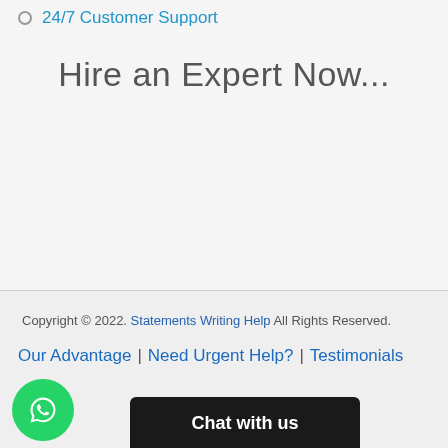24/7 Customer Support
Hire an Expert Now...
Copyright © 2022. Statements Writing Help All Rights Reserved.
Our Advantage  |  Need Urgent Help?  |  Testimonials
[Figure (illustration): Green WhatsApp circular button icon]
Chat with us